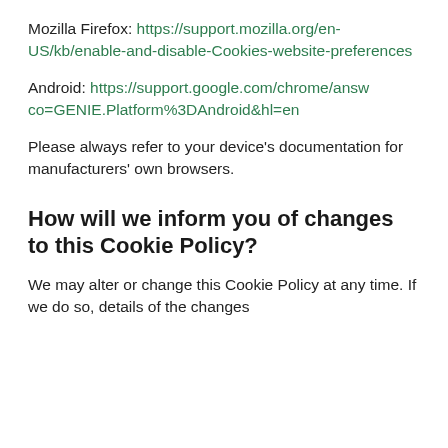Mozilla Firefox: https://support.mozilla.org/en-US/kb/enable-and-disable-Cookies-website-preferences
Android: https://support.google.com/chrome/answer/co=GENIE.Platform%3DAndroid&hl=en
Please always refer to your device's documentation for manufacturers' own browsers.
How will we inform you of changes to this Cookie Policy?
We may alter or change this Cookie Policy at any time. If we do so, details of the changes